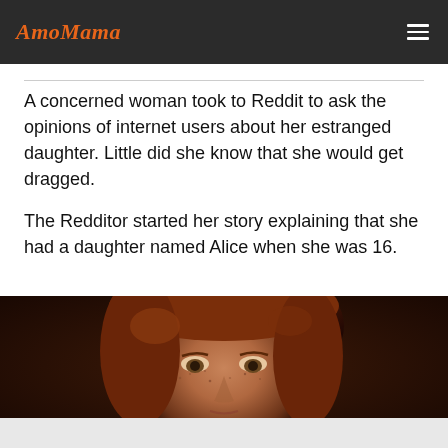AmoMama
A concerned woman took to Reddit to ask the opinions of internet users about her estranged daughter. Little did she know that she would get dragged.
The Redditor started her story explaining that she had a daughter named Alice when she was 16.
[Figure (photo): Close-up photo of a woman with red/auburn curly hair, freckles, and hazel eyes looking slightly downward, against a dark brown background.]